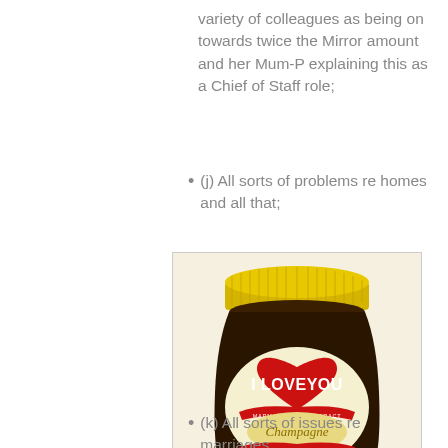variety of colleagues as being on towards twice the Mirror amount and her Mum-P explaining this as a Chief of Staff role;
(j) All sorts of problems re homes and all that;
[Figure (photo): A Marmite jar with a yellow lid and a label showing a heart shape with the text 'I LOVE YOU', 'MARMITE YEAST EXTRACT', 'Champagne', 'FOR MY LOVELY MARMITE LOVER']
(k) All sorts of issues re marriages